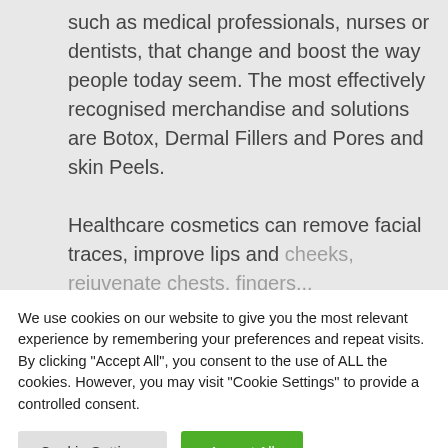such as medical professionals, nurses or dentists, that change and boost the way people today seem. The most effectively recognised merchandise and solutions are Botox, Dermal Fillers and Pores and skin Peels.

Healthcare cosmetics can remove facial traces, improve lips and cheeks, rejuvenate chests, fingers...
We use cookies on our website to give you the most relevant experience by remembering your preferences and repeat visits. By clicking "Accept All", you consent to the use of ALL the cookies. However, you may visit "Cookie Settings" to provide a controlled consent.